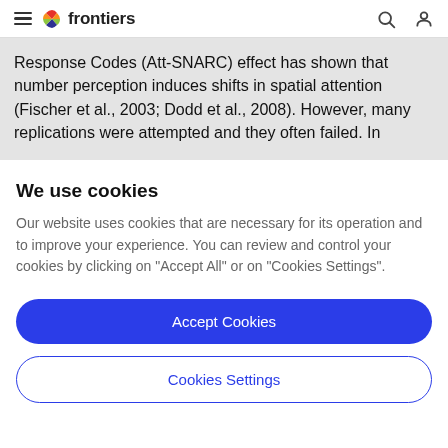frontiers
Response Codes (Att-SNARC) effect has shown that number perception induces shifts in spatial attention (Fischer et al., 2003; Dodd et al., 2008). However, many replications were attempted and they often failed. In
We use cookies
Our website uses cookies that are necessary for its operation and to improve your experience. You can review and control your cookies by clicking on "Accept All" or on "Cookies Settings".
Accept Cookies
Cookies Settings